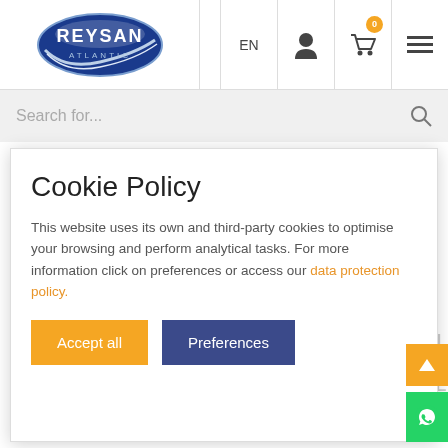[Figure (logo): Reysan Atlantic company logo — oval blue badge with REYSAN text in white and ATLANTIC below, metallic silver swoosh graphic]
EN  [user icon]  [cart icon with badge 0]  [hamburger menu]
Search for...
Cookie Policy
This website uses its own and third-party cookies to optimise your browsing and perform analytical tasks. For more information click on preferences or access our data protection policy.
Accept all
Preferences